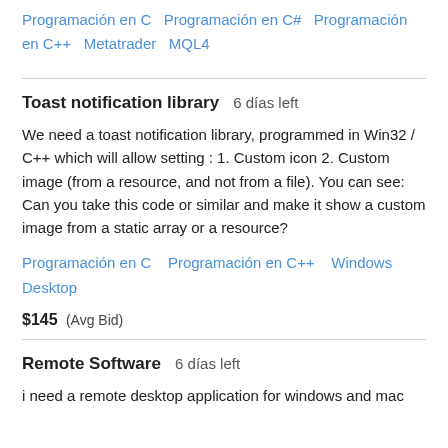Programación en C   Programación en C#   Programación en C++   Metatrader   MQL4
Toast notification library  6 días left
We need a toast notification library, programmed in Win32 / C++ which will allow setting : 1. Custom icon 2. Custom image (from a resource, and not from a file). You can see: Can you take this code or similar and make it show a custom image from a static array or a resource?
Programación en C   Programación en C++   Windows Desktop
$145  (Avg Bid)
Remote Software  6 días left
i need a remote desktop application for windows and mac